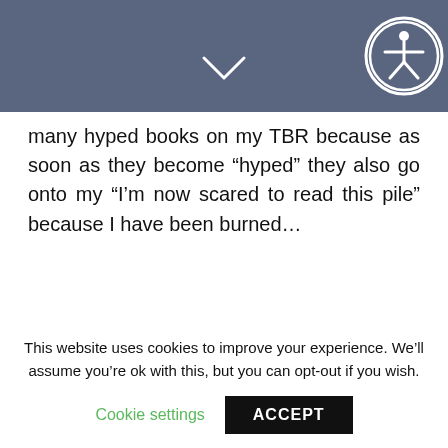[Figure (other): Header bar with chevron down arrow and accessibility icon (person in circle) on dark blue-grey background]
many hyped books on my TBR because as soon as they become “hyped” they also go onto my “I’m now scared to read this pile” because I have been burned…
READ MORE
meeghan
This website uses cookies to improve your experience. We’ll assume you’re ok with this, but you can opt-out if you wish.
Cookie settings
ACCEPT